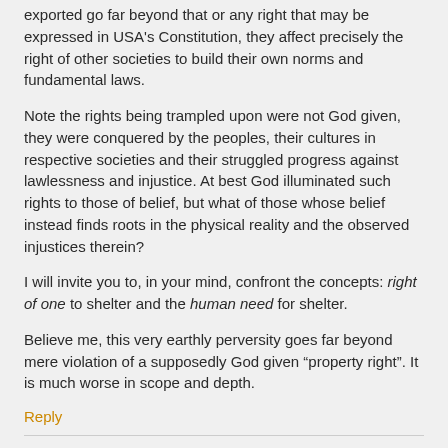exported go far beyond that or any right that may be expressed in USA's Constitution, they affect precisely the right of other societies to build their own norms and fundamental laws.
Note the rights being trampled upon were not God given, they were conquered by the peoples, their cultures in respective societies and their struggled progress against lawlessness and injustice. At best God illuminated such rights to those of belief, but what of those whose belief instead finds roots in the physical reality and the observed injustices therein?
I will invite you to, in your mind, confront the concepts: right of one to shelter and the human need for shelter.
Believe me, this very earthly perversity goes far beyond mere violation of a supposedly God given “property right”. It is much worse in scope and depth.
Reply
voltaire1964    on February 17, 2016  ·  at 6:38 am EST/EDT
David,